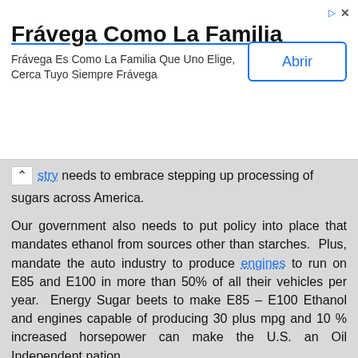[Figure (other): Advertisement banner for Frávega Como La Familia with title, body text, and Abrir button]
...stry needs to embrace stepping up processing of sugars across America.
Our government also needs to put policy into place that mandates ethanol from sources other than starches. Plus, mandate the auto industry to produce engines to run on E85 and E100 in more than 50% of all their vehicles per year. Energy Sugar beets to make E85 – E100 Ethanol and engines capable of producing 30 plus mpg and 10 % increased horsepower can make the U.S. an Oil Independent nation.